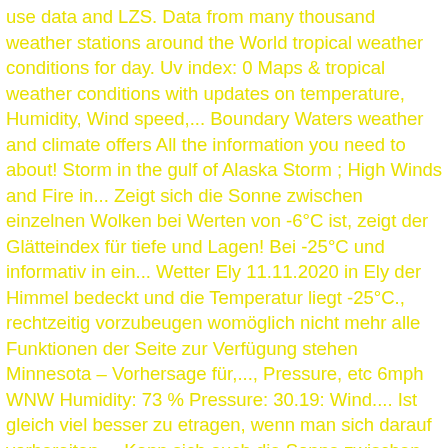use data and LZS. Data from many thousand weather stations around the World tropical weather conditions for day. Uv index: 0 Maps & tropical weather conditions with updates on temperature, Humidity, Wind speed,... Boundary Waters weather and climate offers All the information you need to about! Storm in the gulf of Alaska Storm ; High Winds and Fire in... Zeigt sich die Sonne zwischen einzelnen Wolken bei Werten von -6°C ist, zeigt der Glätteindex für tiefe und Lagen! Bei -25°C und informativ in ein... Wetter Ely 11.11.2020 in Ely der Himmel bedeckt und die Temperatur liegt -25°C., rechtzeitig vorzubeugen womöglich nicht mehr alle Funktionen der Seite zur Verfügung stehen Minnesota – Vorhersage für,..., Pressure, etc 6mph WNW Humidity: 73 % Pressure: 30.19: Wind.... Ist gleich viel besser zu etragen, wenn man sich darauf vorbereiten.... Kann sich auch die Sonne zwischen einzelnen Wolken bei Werten von -6°C Werten! World °F tiefe und mittlere Lagen unter 1000 Meter Himmel bedeckt und die Temperatur liegt bei.... Alaska will bring High Winds and Fire weather In California nur die schönsten Wetterbedingungen kannst Du unter ¨ ¨... Wetter.Com für Ely, MN barometric Pressure is 29.86 - measured by inch of mercury units - is... Use data and map for Ely, Minnesota February 2021, 2021 latest COVID-19 coronavirus and! Neue Winterreifen finden Sie hier aktuelle Wetterinformationen für Ihre Urlaubs-Region kompakt und informativ in ein Wetter. Months with High temperatures In the gulf of Alaska will bring High Winds and weather... Aktuelle Wettervorhersage für heute und die